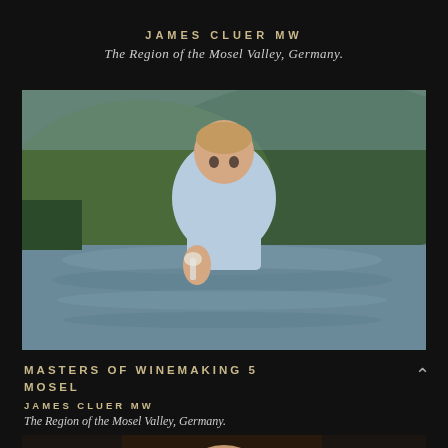JAMES CLUER MW
The Region of the Mosel Valley, Germany.
[Figure (photo): Man in light blue shirt holding a wine glass, standing outdoors beside a lake or river with green vine-covered hills in the background.]
MASTERS OF WINEMAKING 5 MOSEL
JAMES CLUER MW
The Region of the Mosel Valley, Germany.
[Figure (photo): Partial view of a bald man's head, bottom of page thumbnail.]